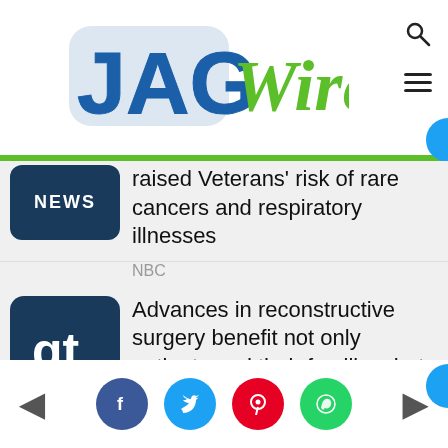[Figure (logo): JAGWire logo - JAG in dark blue bold, Wire in green cursive style]
raised Veterans' risk of rare cancers and respiratory illnesses
NBC
Advances in reconstructive surgery benefit not only patients and their families, but the community as a whole
Georgia Trend
Local rural health efforts get boost from state, federal funds
[Figure (screenshot): Social media share buttons: Facebook (blue), Twitter (light blue), Pinterest (red), WhatsApp (green), with left and right navigation arrows]